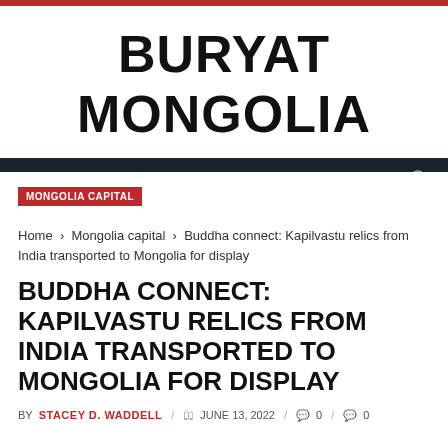BURYAT MONGOLIA
MONGOLIA CAPITAL
Home › Mongolia capital › Buddha connect: Kapilvastu relics from India transported to Mongolia for display
BUDDHA CONNECT: KAPILVASTU RELICS FROM INDIA TRANSPORTED TO MONGOLIA FOR DISPLAY
BY STACEY D. WADDELL / JUNE 13, 2022 / 0 / 0